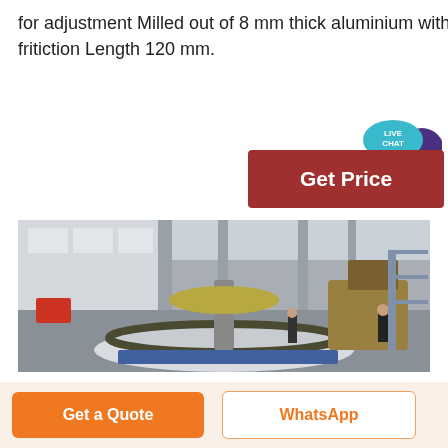for adjustment Milled out of 8 mm thick aluminium with detend balls under for lower fritiction Length 120 mm.
[Figure (photo): Industrial factory floor showing large gear/slewing ring machinery with workers, tall columns, and industrial equipment in a large warehouse.]
Get Price
Get a Quote
WhatsApp